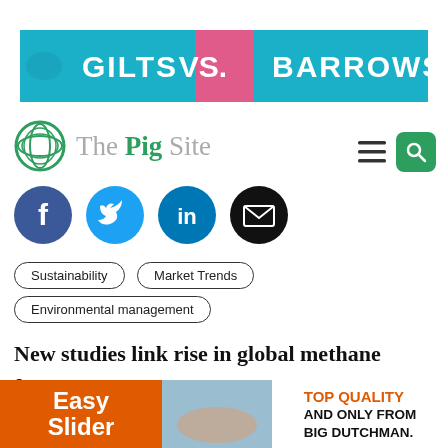[Figure (illustration): Banner advertisement showing 'GILTS VS. BARROWS' text on a teal/pink/teal background]
[Figure (logo): The Pig Site logo with green globe icon and text]
[Figure (illustration): Social media icons: Facebook, Twitter, LinkedIn, Email]
Sustainability
Market Trends
Environmental management
New studies link rise in global methane emissions to...
Two new studies show that US oil and gas drilling, along
[Figure (illustration): Bottom advertisement: Easy Slider on left, pig photo in center, TOP QUALITY AND ONLY FROM BIG DUTCHMAN on right]